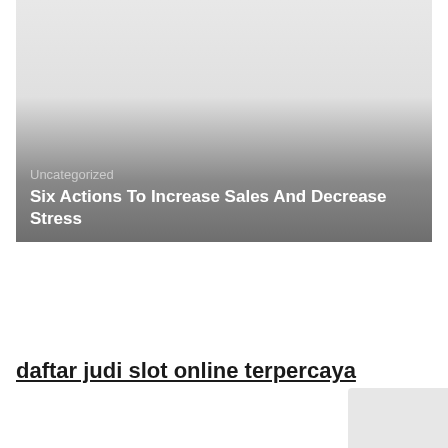[Figure (photo): A blog post thumbnail image with a gradient from light gray at top to dark gray at bottom, overlaid with text showing category 'Uncategorized' and title 'Six Actions To Increase Sales And Decrease Stress']
daftar judi slot online terpercaya